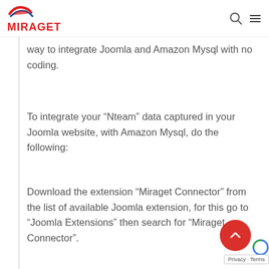MIRAGET
way to integrate Joomla and Amazon Mysql with no coding.
To integrate your “Nteam” data captured in your Joomla website, with Amazon Mysql, do the following:
Download the extension “Miraget Connector” from the list of available Joomla extension, for this go to “Joomla Extensions” then search for “Miraget Connector”.